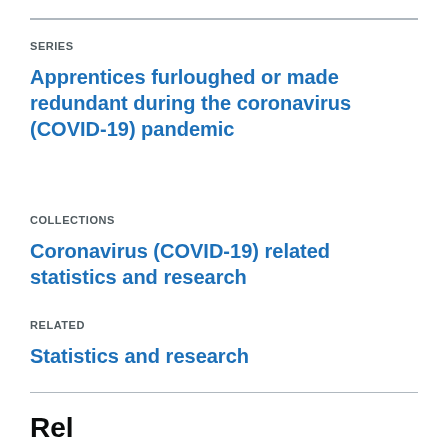SERIES
Apprentices furloughed or made redundant during the coronavirus (COVID-19) pandemic
COLLECTIONS
Coronavirus (COVID-19) related statistics and research
RELATED
Statistics and research